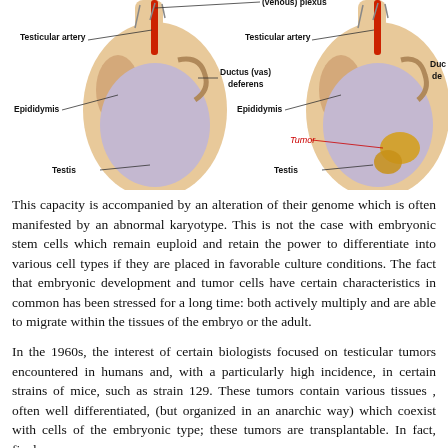[Figure (illustration): Two anatomical diagrams of the testis side by side. Left diagram shows a normal testis with labeled structures: (venous) plexus, Testicular artery, Epididymis, Ductus (vas) deferens, Testis. Right diagram shows a testis with a tumor (labeled in red italic as 'Tumor'), with the same labeled structures partially visible.]
This capacity is accompanied by an alteration of their genome which is often manifested by an abnormal karyotype. This is not the case with embryonic stem cells which remain euploid and retain the power to differentiate into various cell types if they are placed in favorable culture conditions. The fact that embryonic development and tumor cells have certain characteristics in common has been stressed for a long time: both actively multiply and are able to migrate within the tissues of the embryo or the adult.
In the 1960s, the interest of certain biologists focused on testicular tumors encountered in humans and, with a particularly high incidence, in certain strains of mice, such as strain 129. These tumors contain various tissues , often well differentiated, (but organized in an anarchic way) which coexist with cells of the embryonic type; these tumors are transplantable. In fact, finely